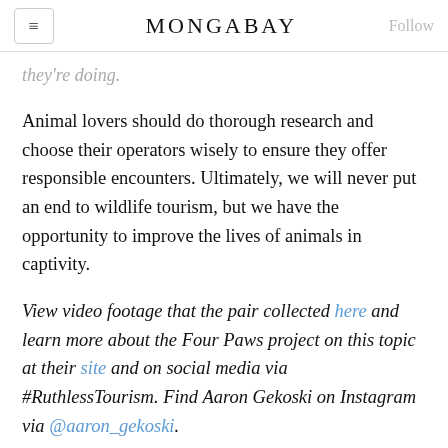MONGABAY
they're doing.
Animal lovers should do thorough research and choose their operators wisely to ensure they offer responsible encounters. Ultimately, we will never put an end to wildlife tourism, but we have the opportunity to improve the lives of animals in captivity.
View video footage that the pair collected here and learn more about the Four Paws project on this topic at their site and on social media via #RuthlessTourism. Find Aaron Gekoski on Instagram via @aaron_gekoski.